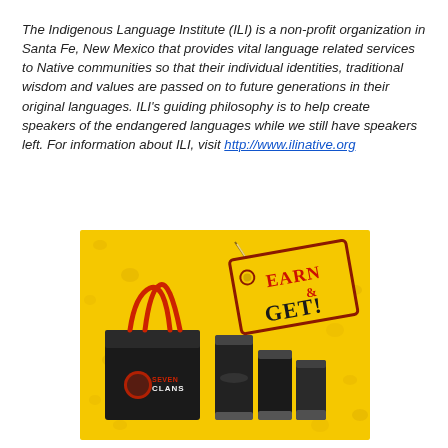The Indigenous Language Institute (ILI) is a non-profit organization in Santa Fe, New Mexico that provides vital language related services to Native communities so that their individual identities, traditional wisdom and values are passed on to future generations in their original languages. ILI's guiding philosophy is to help create speakers of the endangered languages while we still have speakers left. For information about ILI, visit http://www.ilinative.org
[Figure (illustration): Yellow background with water droplets. A black gift/shopping bag with red handles and 'SEVEN CLANS' branding. Three black tumbler/travel mugs. A price tag shape with text 'EARN & GET!' in red and black letters.]